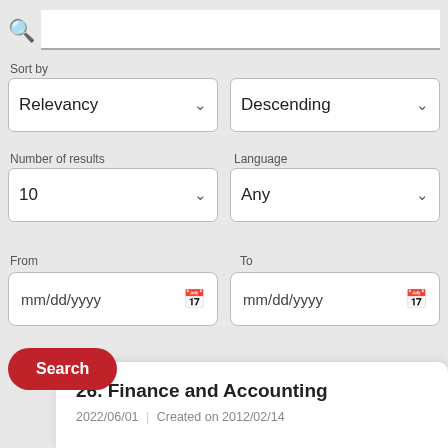[Figure (screenshot): Search interface with search bar, sort dropdowns, number of results and language dropdowns, date range fields, search button, and a result card showing '26. Finance and Accounting']
Sort by
Relevancy
Descending
Number of results
Language
10
Any
From
To
mm/dd/yyyy
mm/dd/yyyy
Search
26. Finance and Accounting
2022/06/01 | Created on 2012/02/14